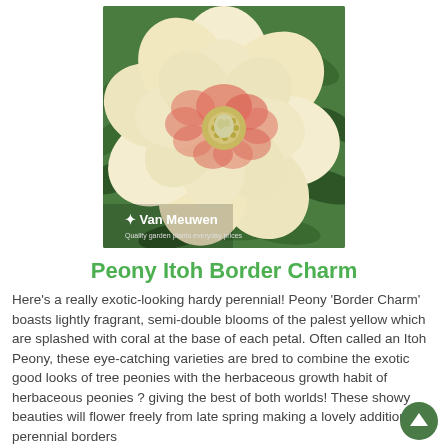[Figure (photo): Close-up photo of a Peony Itoh Border Charm flower with pale yellow petals splashed with coral/red at the center, surrounded by green foliage. Van Meuwen logo and tagline visible at bottom left of image.]
Peony Itoh Border Charm
Here's a really exotic-looking hardy perennial! Peony 'Border Charm' boasts lightly fragrant, semi-double blooms of the palest yellow which are splashed with coral at the base of each petal. Often called an Itoh Peony, these eye-catching varieties are bred to combine the exotic good looks of tree peonies with the herbaceous growth habit of herbaceous peonies ? giving the best of both worlds! These showy beauties will flower freely from late spring making a lovely addition to perennial borders